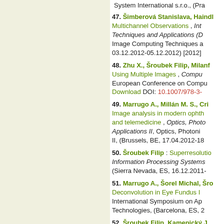System International s.r.o., (Pra... [text cut off at left edge]
47. Šimberová Stanislava, Haindl... Multichannel Observations , Int... Techniques and Applications (D... Image Computing Techniques a... 03.12.2012-05.12.2012) [2012]
48. Zhu X., Šroubek Filip, Milanf... Using Multiple Images , Compu... European Conference on Compu... Download DOI: 10.1007/978-3-...
49. Marrugo A., Millán M. S., Cri... Image analysis in modern ophth... and telemedicine , Optics, Photo... Applications II, Optics, Photoni... II, (Brussels, BE, 17.04.2012-18...
50. Šroubek Filip : Superresolutio... Information Processing Systems... (Sierra Nevada, ES, 16.12.2011-...
51. Marrugo A., Šorel Michal, Šro... Deconvolution in Eye Fundus I... International Symposium on Ap... Technologies, (Barcelona, ES, 2...
52. Šroubek Filip, Kamenický J... [text cut off]